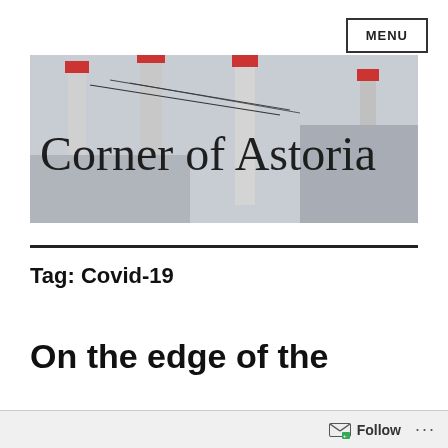MENU
[Figure (photo): Banner photo of industrial smokestacks with red tops against a grey sky, with the blog title 'Corner of Astoria' overlaid in large serif text.]
Corner of Astoria
Tag: Covid-19
On the edge of the
Follow